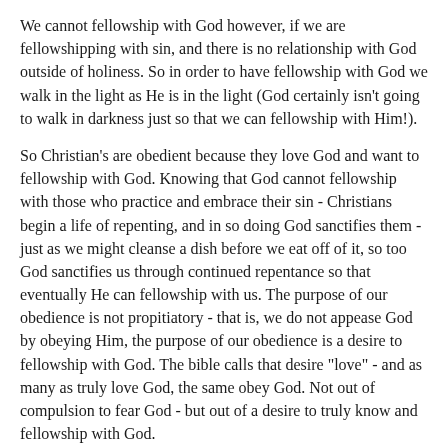We cannot fellowship with God however, if we are fellowshipping with sin, and there is no relationship with God outside of holiness. So in order to have fellowship with God we walk in the light as He is in the light (God certainly isn't going to walk in darkness just so that we can fellowship with Him!).
So Christian's are obedient because they love God and want to fellowship with God. Knowing that God cannot fellowship with those who practice and embrace their sin - Christians begin a life of repenting, and in so doing God sanctifies them - just as we might cleanse a dish before we eat off of it, so too God sanctifies us through continued repentance so that eventually He can fellowship with us. The purpose of our obedience is not propitiatory - that is, we do not appease God by obeying Him, the purpose of our obedience is a desire to fellowship with God. The bible calls that desire "love" - and as many as truly love God, the same obey God. Not out of compulsion to fear God - but out of a desire to truly know and fellowship with God.
fear might make a man obey in the flesh - but love can make a man want to obey - that is, to worship God not just with his hands, but in spirit and in truth - such is God seeking to worship him.